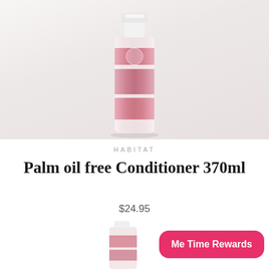[Figure (photo): A blurred pink and white bottle of hair conditioner product standing upright against a light grey/white background. The bottle has pink labels and a white cap.]
HABITAT
Palm oil free Conditioner 370ml
$24.95
[Figure (photo): Partially visible pink conditioner bottle at the bottom of the page]
Me Time Rewards